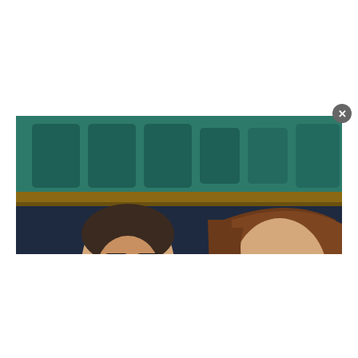[Figure (photo): Two people sitting in stadium seating. On the left, an older man in a dark navy suit with a light grey tie and sunglasses seen in profile. On the right, a young woman with long brown hair, wearing sunglasses, a beige/gold textured top with a pink flower accessory. Background shows teal/green stadium seats.]
[Figure (screenshot): Video overlay thumbnail in bottom right showing a man in a red Ferrari racing jacket with glasses, and red Formula 1 cars in background. White play button in center. Text 'FERRARI RESPOND TO' in white bold text at bottom. F1 logo visible top left.]
[Photos] Meet The Girlfriend The Planet
Bon Voyaged / Sponsored